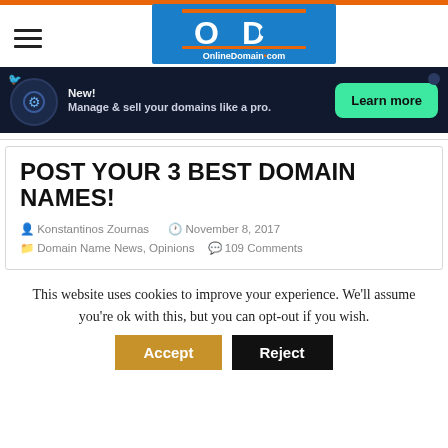[Figure (logo): OnlineDomain.com logo — blue rectangle with orange top and bottom bars, white 'OD' letters, text 'OnlineDomain.com' below]
[Figure (infographic): Dark navy ad banner: 'New! Manage & sell your domains like a pro.' with green 'Learn more' button]
POST YOUR 3 BEST DOMAIN NAMES!
Konstantinos Zournas  November 8, 2017  Domain Name News, Opinions  109 Comments
This website uses cookies to improve your experience. We'll assume you're ok with this, but you can opt-out if you wish. Accept Reject